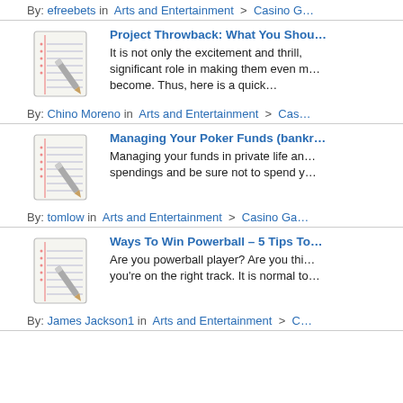By: efreebets in Arts and Entertainment > Casino G...
Project Throwback: What You Shou...
It is not only the excitement and thrill,... significant role in making them even m... become. Thus, here is a quick…
By: Chino Moreno in Arts and Entertainment > Cas...
Managing Your Poker Funds (bankr...
Managing your funds in private life an... spendings and be sure not to spend y...
By: tomlow in Arts and Entertainment > Casino Ga...
Ways To Win Powerball – 5 Tips To...
Are you powerball player? Are you thi... you're on the right track. It is normal to...
By: James Jackson1 in Arts and Entertainment > C...